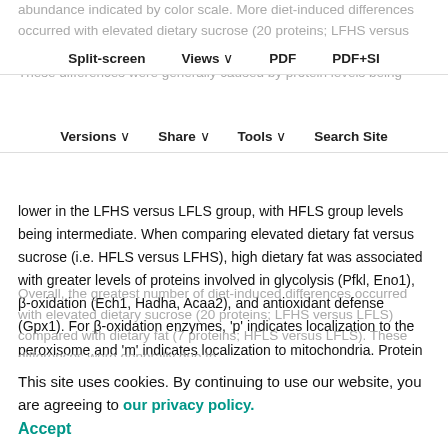abundance indicated by color scale. More diet-induced differences occurred with elevated dietary sucrose (20 proteins; LFHS versus LFLS) compared with dietary fat (7 proteins; HFLS versus LFLS). These differences were generally caused by protein levels being
Split-screen  Views  PDF  PDF+SI
Versions  Share  Tools  Search Site
lower in the LFHS versus LFLS group, with HFLS group levels being intermediate. When comparing elevated dietary fat versus sucrose (i.e. HFLS versus LFHS), high dietary fat was associated with greater levels of proteins involved in glycolysis (Pfkl, Eno1), β-oxidation (Ech1, Hadha, Acaa2), and antioxidant defense (Gpx1). For β-oxidation enzymes, 'p' indicates localization to the peroxisome and 'm' indicates localization to mitochondria. Protein names and diet-specific differences based on Tukey post hoc statistical analysis are provided in Table S4. TCA, tricarboxylic acid.
Overall, the greatest number of diet-induced differences occurred with elevated dietary sucrose (20 proteins; LFHS versus LFLS) compared with dietary fat (7 proteins; HFLS versus LFLS). These differences were generally due to
This site uses cookies. By continuing to use our website, you are agreeing to our privacy policy. Accept